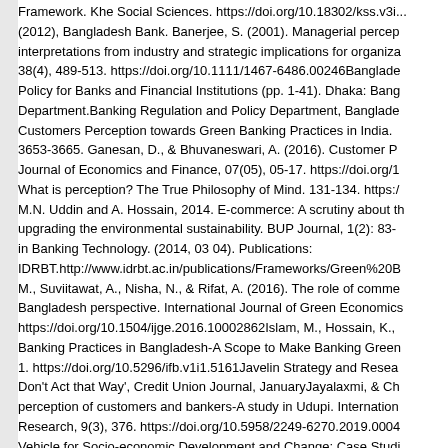Framework. The Social Sciences. https://doi.org/10.18302/kss.v3i... (2012), Bangladesh Bank. Banerjee, S. (2001). Managerial perceptions and interpretations from industry and strategic implications for organizations. 38(4), 489-513. https://doi.org/10.1111/1467-6486.00246Bangladesh... Policy for Banks and Financial Institutions (pp. 1-41). Dhaka: Bang... Department.Banking Regulation and Policy Department, Bangladesh... Customers Perception towards Green Banking Practices in India. 3653-3665. Ganesan, D., & Bhuvaneswari, A. (2016). Customer Pe... Journal of Economics and Finance, 07(05), 05-17. https://doi.org/1... What is perception? The True Philosophy of Mind. 131-134. https:/... M.N. Uddin and A. Hossain, 2014. E-commerce: A scrutiny about the upgrading the environmental sustainability. BUP Journal, 1(2): 83-... in Banking Technology. (2014, 03 04). Publications: IDRBT.http://www.idrbt.ac.in/publications/Frameworks/Green%20B... M., Suviitawat, A., Nisha, N., & Rifat, A. (2016). The role of comme... Bangladesh perspective. International Journal of Green Economics. https://doi.org/10.1504/ijge.2016.10002862Islam, M., Hossain, K.,... Banking Practices in Bangladesh-A Scope to Make Banking Green... 1. https://doi.org/10.5296/ifb.v1i1.5161Javelin Strategy and Resea... Don't Act that Way', Credit Union Journal, JanuaryJayalaxmi, & Ch... perception of customers and bankers-A study in Udupi. International Research, 9(3), 376. https://doi.org/10.5958/2249-6270.2019.0004... Vehicle for Socio-economic Development and Change: Case Studi... Banks. MIT, Cambridge, MA.Koiry, S., Saha, J., Farid, M., Sultana,... Perception of Bank Customers towards Green Banking in Sylhet D... Economics, Business And Accounting, 5(2), 1-12. https://doi.org/10...